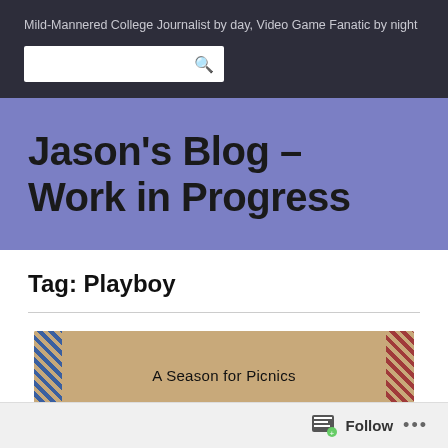Mild-Mannered College Journalist by day, Video Game Fanatic by night
Jason's Blog – Work in Progress
Tag: Playboy
[Figure (screenshot): Banner image with decorative border showing 'A Season for Picnics' text on a tan/brown background with blue and red patterned borders on the sides]